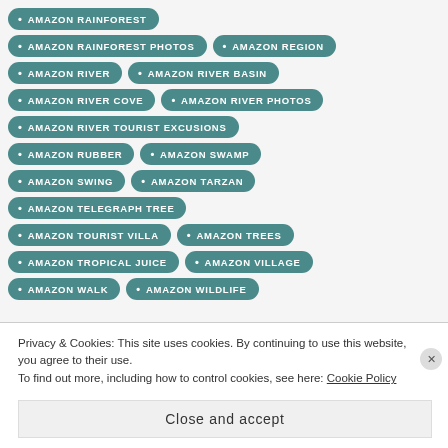AMAZON RAINFOREST
AMAZON RAINFOREST PHOTOS
AMAZON REGION
AMAZON RIVER
AMAZON RIVER BASIN
AMAZON RIVER COVE
AMAZON RIVER PHOTOS
AMAZON RIVER TOURIST EXCUSIONS
AMAZON RUBBER
AMAZON SWAMP
AMAZON SWING
AMAZON TARZAN
AMAZON TELEGRAPH TREE
AMAZON TOURIST VILLA
AMAZON TREES
AMAZON TROPICAL JUICE
AMAZON VILLAGE
AMAZON WALK
AMAZON WILDLIFE
Privacy & Cookies: This site uses cookies. By continuing to use this website, you agree to their use.
To find out more, including how to control cookies, see here: Cookie Policy
Close and accept